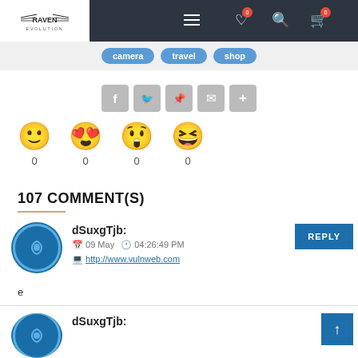RAVEN EVOLUTION - Navigation bar with camera, travel, shop tags
[Figure (screenshot): Share buttons row: Facebook, Twitter, Pinterest, Email, Plus]
[Figure (infographic): Emoji reaction buttons: smiley, heart-eyes, wow, laughing, each with count 0]
107 COMMENT(S)
dSuxgTjb: 09 May 04:26:49 PM http://www.vulnweb.com
e
dSuxgTjb: